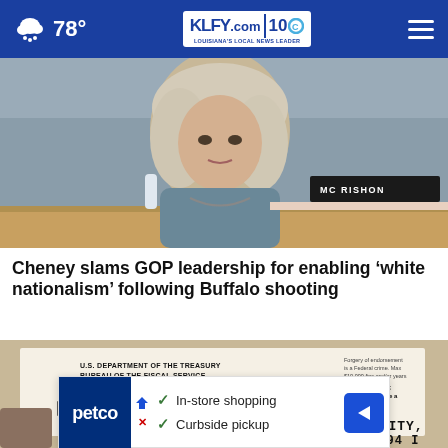78° KLFY.com 10
[Figure (photo): Woman with gray-blond hair at a congressional hearing, nameplate visible in background]
Cheney slams GOP leadership for enabling 'white nationalism' following Buffalo shooting
[Figure (photo): U.S. Department of the Treasury Bureau of the Fiscal Service government check document with routing numbers 04 24 20 2409880 and address Philadelphia, Pennsylvania 19115-6315]
In-store shopping
Curbside pickup